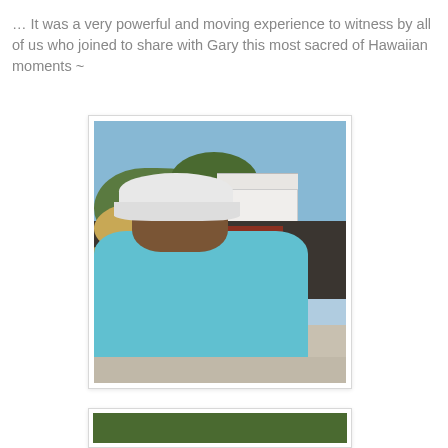… It was a very powerful and moving experience to witness by all of us who joined to share with Gary this most sacred of Hawaiian moments ~
[Figure (photo): Two people seen from behind sitting at a table looking out at a lava field with a white building, trees, and blue sky. The person on the left wears a straw hat and dark clothing; the person on the right wears a white baseball cap and light blue shirt. Photo credit: © Leigh Hilbert Photography 2010]
[Figure (photo): Partial view of a second photo showing green trees, partially visible at the bottom of the page.]